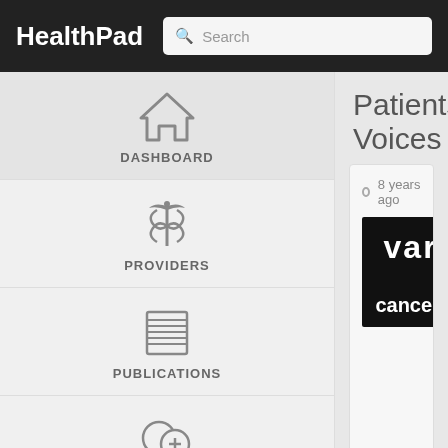HealthPad
Search
DASHBOARD
PROVIDERS
PUBLICATIONS
NETWORKS
Patients' Voices
8 years ago
[Figure (screenshot): Thumbnail image showing 'vari' and 'cancer a' text on black background]
Why is the work y and what do they
OVARIAN CANCER ACTION
Directory:
PATIENTS' VOIC
Tags:
chemotherapy
counselling
debulking surge
hair loss
Oncology
[Figure (photo): Partial photo showing a person with blonde hair against a dark red/maroon background]